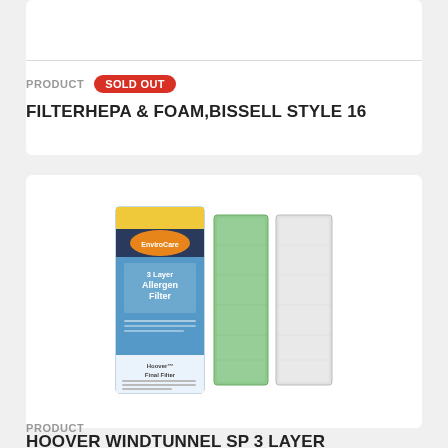PRODUCT   SOLD OUT
FILTERHEPA & FOAM,BISSELL STYLE 16
[Figure (photo): Product image showing EnviroCare 3 Layer Allergen Filter package for Hoover Final Filter, alongside a green filter pad and a white filter pad]
PRODUCT
HOOVER WINDTUNNEL SP 3 LAYER